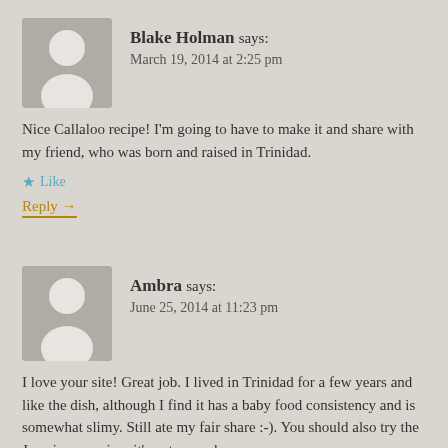[Figure (illustration): Generic user avatar silhouette (gray background with white person icon) for Blake Holman]
Blake Holman says: March 19, 2014 at 2:25 pm
Nice Callaloo recipe! I'm going to have to make it and share with my friend, who was born and raised in Trinidad.
★ Like
Reply →
[Figure (illustration): Generic user avatar silhouette (gray background with white person icon) for Ambra]
Ambra says: June 25, 2014 at 11:23 pm
I love your site! Great job. I lived in Trinidad for a few years and like the dish, although I find it has a baby food consistency and is somewhat slimy. Still ate my fair share :-). You should also try the Jamaican version, it's not pureed.
★ Like
Reply